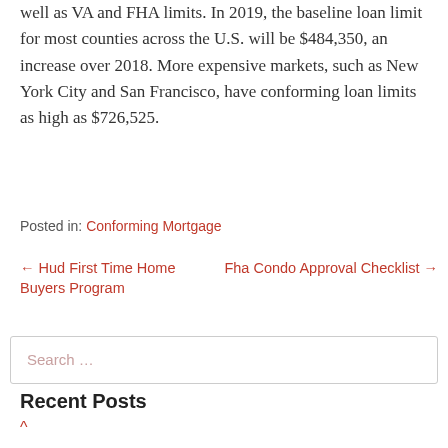well as VA and FHA limits. In 2019, the baseline loan limit for most counties across the U.S. will be $484,350, an increase over 2018. More expensive markets, such as New York City and San Francisco, have conforming loan limits as high as $726,525.
Posted in: Conforming Mortgage
← Hud First Time Home Buyers Program    Fha Condo Approval Checklist →
Search …
Recent Posts